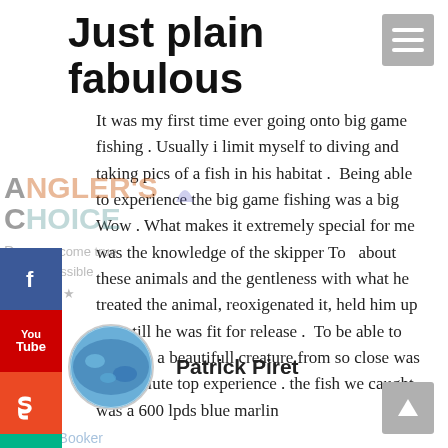Just plain fabulous
It was my first time ever going onto big game fishing . Usually i limit myself to diving and taking pics of a fish in his habitat .  Being able to experience the big game fishing was a big Wow . What makes it extremely special for me was the knowledge of the skipper To   about these animals and the gentleness with what he treated the animal, reoxigenated it, held him up right till he was fit for release .  To be able to see such a beautifull creature from so close was an absolute top experience . the fish we caught was a 600 lpds blue marlin
Patrick Piret